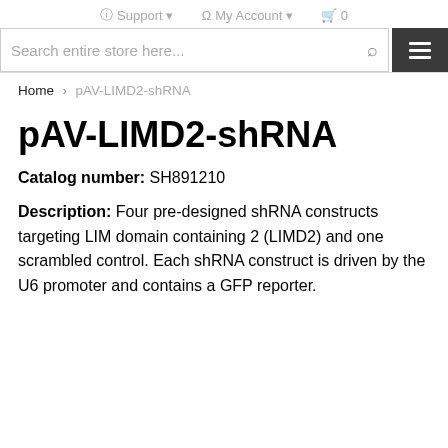Support · My Account · 0
Search entire store here...
Home > pAV-LIMD2-shRNA
pAV-LIMD2-shRNA
Catalog number: SH891210
Description: Four pre-designed shRNA constructs targeting LIM domain containing 2 (LIMD2) and one scrambled control. Each shRNA construct is driven by the U6 promoter and contains a GFP reporter.